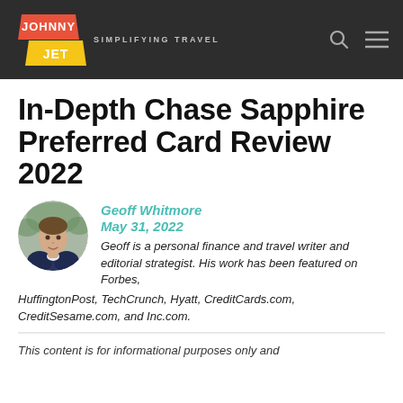JOHNNY JET — SIMPLIFYING TRAVEL
In-Depth Chase Sapphire Preferred Card Review 2022
Geoff Whitmore
May 31, 2022
Geoff is a personal finance and travel writer and editorial strategist. His work has been featured on Forbes, HuffingtonPost, TechCrunch, Hyatt, CreditCards.com, CreditSesame.com, and Inc.com.
[Figure (photo): Headshot photo of Geoff Whitmore, a young man in a suit jacket, circular crop]
This content is for informational purposes only and